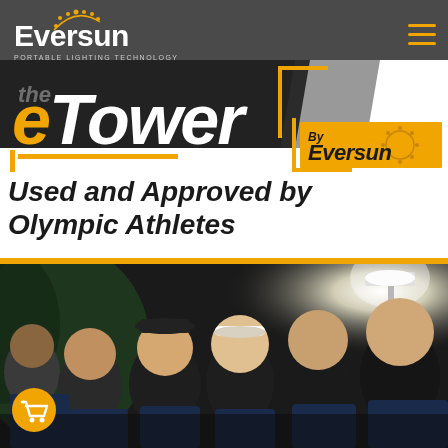[Figure (logo): Eversun Portable Lighting Technology logo with sun arc graphic in white and gold on dark grey navigation bar, with hamburger menu icon in gold on the right]
[Figure (illustration): The eTower by Eversun branded banner. Black diagonal background panel with italic white text reading 'eTower' with gold 'e', gold accent lines, and an orange badge reading 'By Eversun' with sun icon]
Used and Approved by Olympic Athletes
[Figure (photo): Group of smiling athletes in dark blue athletic wear posing together outdoors at night, illuminated by a bright portable light tower visible in the upper right background]
[Figure (illustration): Gold circular shopping cart button in the lower left corner of the photo section]